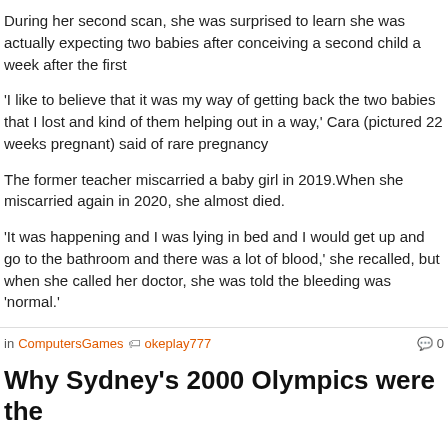During her second scan, she was surprised to learn she was actually expecting two babies after conceiving a second child a week after the first
'I like to believe that it was my way of getting back the two babies that I lost and kind of them helping out in a way,' Cara (pictured 22 weeks pregnant) said of rare pregnancy
The former teacher miscarried a baby girl in 2019.When she miscarried again in 2020, she almost died.
'It was happening and I was lying in bed and I would get up and go to the bathroom and there was a lot of blood,' she recalled, but when she called her doctor, she was told the bleeding was 'normal.'
in ComputersGames  okeplay777  0
Why Sydney's 2000 Olympics were the